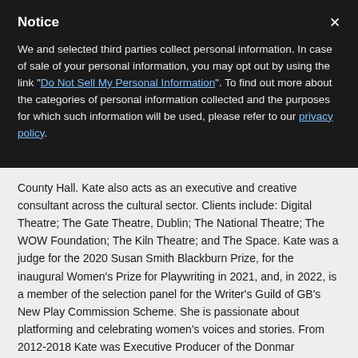Notice
We and selected third parties collect personal information. In case of sale of your personal information, you may opt out by using the link "Do Not Sell My Personal Information". To find out more about the categories of personal information collected and the purposes for which such information will be used, please refer to our privacy policy.
County Hall. Kate also acts as an executive and creative consultant across the cultural sector. Clients include: Digital Theatre; The Gate Theatre, Dublin; The National Theatre; The WOW Foundation; The Kiln Theatre; and The Space. Kate was a judge for the 2020 Susan Smith Blackburn Prize, for the inaugural Women's Prize for Playwriting in 2021, and, in 2022, is a member of the selection panel for the Writer's Guild of GB's New Play Commission Scheme. She is passionate about platforming and celebrating women's voices and stories. From 2012-2018 Kate was Executive Producer of the Donmar Warehouse where she produced over 40 productions, many of which transferred to the West End, New York, or